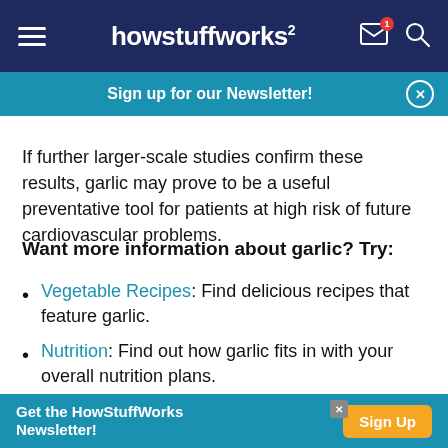howstuffworks
Sign up for our Newsletter!
If further larger-scale studies confirm these results, garlic may prove to be a useful preventative tool for patients at high risk of future cardiovascular problems.
Want more information about garlic? Try:
Vegetable Recipes: Find delicious recipes that feature garlic.
Nutrition: Find out how garlic fits in with your overall nutrition plans.
Vegetable Gardens: Grow a full harvest of
Get the HowStuffWorks Newsletter! Sign Up